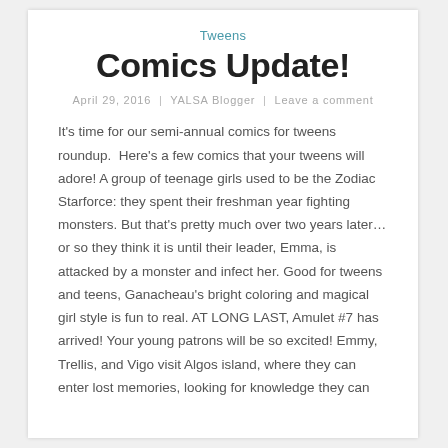Tweens
Comics Update!
April 29, 2016  |  YALSA Blogger  |  Leave a comment
It's time for our semi-annual comics for tweens roundup.  Here's a few comics that your tweens will adore! A group of teenage girls used to be the Zodiac Starforce: they spent their freshman year fighting monsters. But that's pretty much over two years later… or so they think it is until their leader, Emma, is attacked by a monster and infect her. Good for tweens and teens, Ganacheau's bright coloring and magical girl style is fun to real. AT LONG LAST, Amulet #7 has arrived! Your young patrons will be so excited! Emmy, Trellis, and Vigo visit Algos island, where they can enter lost memories, looking for knowledge they can